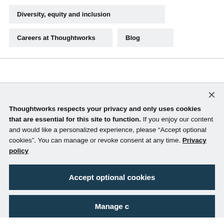Diversity, equity and inclusion
Careers at Thoughtworks
Blog
Thoughtworks respects your privacy and only uses cookies that are essential for this site to function. If you enjoy our content and would like a personalized experience, please “Accept optional cookies”. You can manage or revoke consent at any time. Privacy policy
Accept optional cookies
Manage cookies